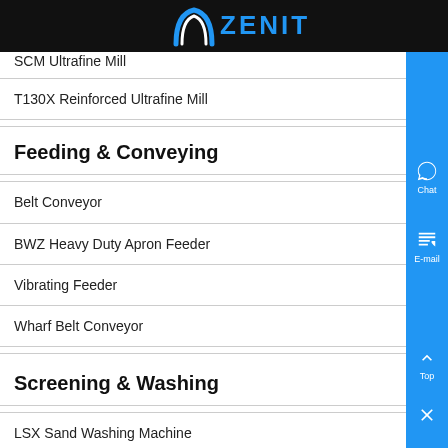ZENIT
SCM Ultrafine Mill
T130X Reinforced Ultrafine Mill
Feeding & Conveying
Belt Conveyor
BWZ Heavy Duty Apron Feeder
Vibrating Feeder
Wharf Belt Conveyor
Screening & Washing
LSX Sand Washing Machine